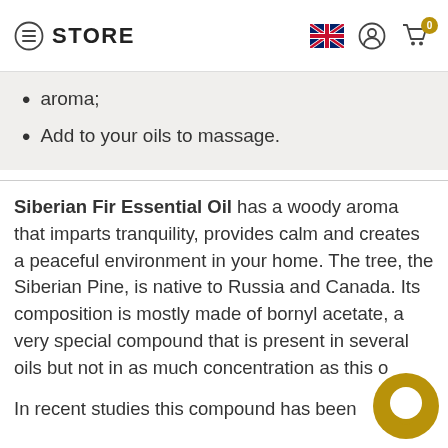STORE
aroma;
Add to your oils to massage.
Siberian Fir Essential Oil has a woody aroma that imparts tranquility, provides calm and creates a peaceful environment in your home. The tree, the Siberian Pine, is native to Russia and Canada. Its composition is mostly made of bornyl acetate, a very special compound that is present in several oils but not in as much concentration as this o
In recent studies this compound has been